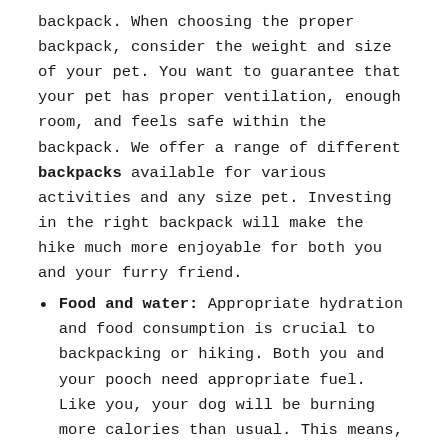backpack. When choosing the proper backpack, consider the weight and size of your pet. You want to guarantee that your pet has proper ventilation, enough room, and feels safe within the backpack. We offer a range of different backpacks available for various activities and any size pet. Investing in the right backpack will make the hike much more enjoyable for both you and your furry friend.
Food and water: Appropriate hydration and food consumption is crucial to backpacking or hiking. Both you and your pooch need appropriate fuel. Like you, your dog will be burning more calories than usual. This means, both of you will require extra fuel to help maintain your energy levels. In addition, routinely have water available. Some owners train their dog to drink as they pour from a water bottle, but other options exist. A lightweight, collapsible